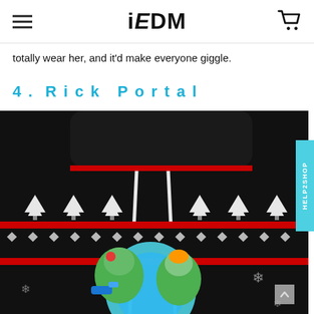iEDM
totally wear her, and it'd make everyone giggle.
4. Rick Portal
[Figure (photo): A Rick and Morty themed ugly Christmas sweater hoodie with black background, white Christmas trees, red stripes, snowflake patterns, and Rick and Morty portal gun graphic in green and blue on the front.]